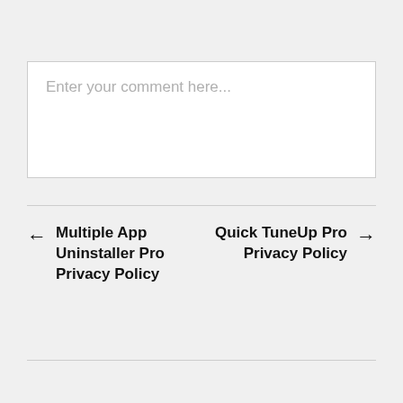Enter your comment here...
← Multiple App Uninstaller Pro Privacy Policy
Quick TuneUp Pro Privacy Policy →